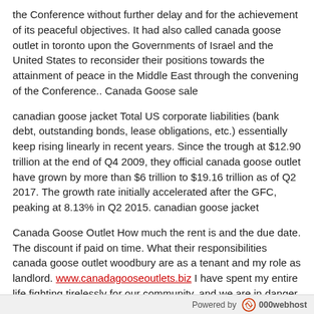the Conference without further delay and for the achievement of its peaceful objectives. It had also called canada goose outlet in toronto upon the Governments of Israel and the United States to reconsider their positions towards the attainment of peace in the Middle East through the convening of the Conference.. Canada Goose sale
canadian goose jacket Total US corporate liabilities (bank debt, outstanding bonds, lease obligations, etc.) essentially keep rising linearly in recent years. Since the trough at $12.90 trillion at the end of Q4 2009, they official canada goose outlet have grown by more than $6 trillion to $19.16 trillion as of Q2 2017. The growth rate initially accelerated after the GFC, peaking at 8.13% in Q2 2015. canadian goose jacket
Canada Goose Outlet How much the rent is and the due date. The discount if paid on time. What their responsibilities canada goose outlet woodbury are as a tenant and my role as landlord. www.canadagooseoutlets.biz I have spent my entire life fighting tirelessly for our community, and we are in danger of losing what we've achieved and even more. We have to stick together, and we have to stop fighting over language and over politics. Igot in a lot of troublebe...
Powered by 000webhost